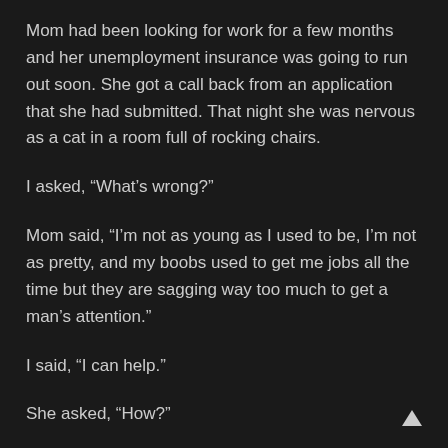Mom had been looking for work for a few months and her unemployment insurance was going to run out soon. She got a call back from an application that she had submitted. That night she was nervous as a cat in a room full of rocking chairs.
I asked, “What’s wrong?”
Mom said, “I’m not as young as I used to be, I’m not as pretty, and my boobs used to get me jobs all the time but they are sagging way too much to get a man’s attention.”
I said, “I can help.”
She asked, “How?”
I replied, “Let Melinda help you with your makeup and I’ll